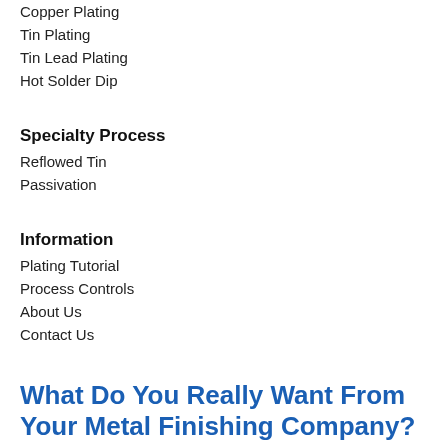Copper Plating
Tin Plating
Tin Lead Plating
Hot Solder Dip
Specialty Process
Reflowed Tin
Passivation
Information
Plating Tutorial
Process Controls
About Us
Contact Us
What Do You Really Want From Your Metal Finishing Company?
Reliable, Repeatable Results. The First Time. Every Time.
Overplating, underplating, pitting, peeling, bad solder joints, poor corrosion resistance. Any of these problems can lead to failures or the shortened life of your electroplated part or worse - the failure of the entire system in which